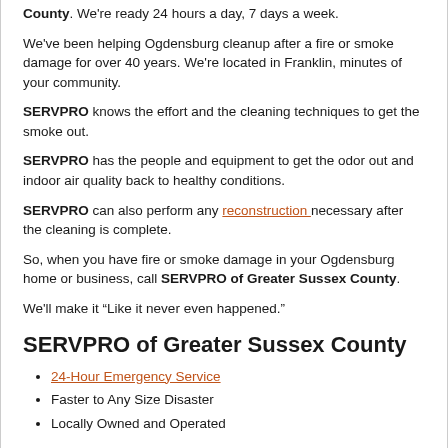County. We're ready 24 hours a day, 7 days a week.
We've been helping Ogdensburg cleanup after a fire or smoke damage for over 40 years. We're located in Franklin, minutes of your community.
SERVPRO knows the effort and the cleaning techniques to get the smoke out.
SERVPRO has the people and equipment to get the odor out and indoor air quality back to healthy conditions.
SERVPRO can also perform any reconstruction necessary after the cleaning is complete.
So, when you have fire or smoke damage in your Ogdensburg home or business, call SERVPRO of Greater Sussex County.
We'll make it “Like it never even happened.”
SERVPRO of Greater Sussex County
24-Hour Emergency Service
Faster to Any Size Disaster
Locally Owned and Operated